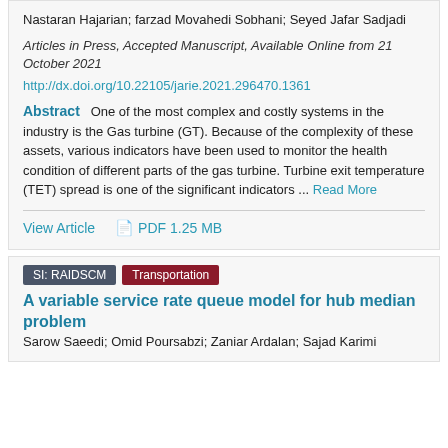Nastaran Hajarian; farzad Movahedi Sobhani; Seyed Jafar Sadjadi
Articles in Press, Accepted Manuscript, Available Online from 21 October 2021
http://dx.doi.org/10.22105/jarie.2021.296470.1361
Abstract   One of the most complex and costly systems in the industry is the Gas turbine (GT). Because of the complexity of these assets, various indicators have been used to monitor the health condition of different parts of the gas turbine. Turbine exit temperature (TET) spread is one of the significant indicators ... Read More
View Article
PDF 1.25 MB
SI: RAIDSCM
Transportation
A variable service rate queue model for hub median problem
Sarow Saeedi; Omid Poursabzi; Zaniar Ardalan; Sajad Karimi